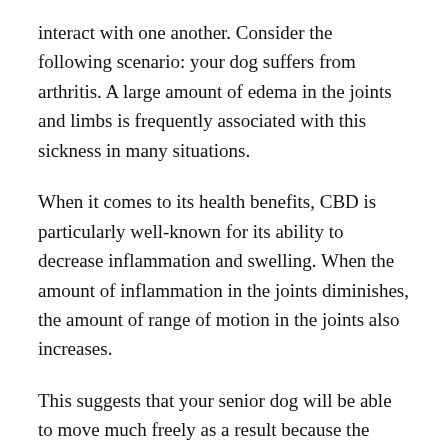interact with one another. Consider the following scenario: your dog suffers from arthritis. A large amount of edema in the joints and limbs is frequently associated with this sickness in many situations.
When it comes to its health benefits, CBD is particularly well-known for its ability to decrease inflammation and swelling. When the amount of inflammation in the joints diminishes, the amount of range of motion in the joints also increases.
This suggests that your senior dog will be able to move much freely as a result because the discomfort caused by arthritis will decrease. They were able to continue doing the activities that they were accustomed to doing without having any pain or discomfort as a result.